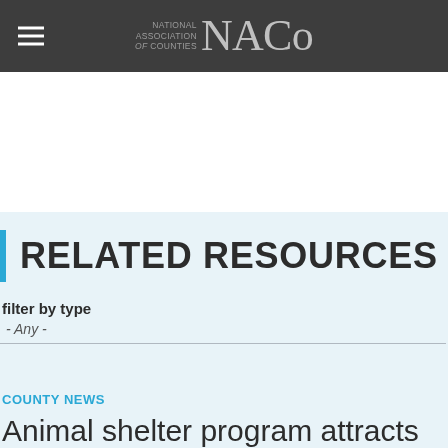NATIONAL ASSOCIATION of COUNTIES NACo
RELATED RESOURCES
filter by type
- Any -
COUNTY NEWS
Animal shelter program attracts